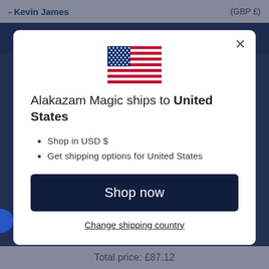- Kevin James | (GBP £)
[Figure (illustration): US flag emoji/icon centered in modal]
Alakazam Magic ships to United States
Shop in USD $
Get shipping options for United States
Shop now
Change shipping country
Total price: £87.12